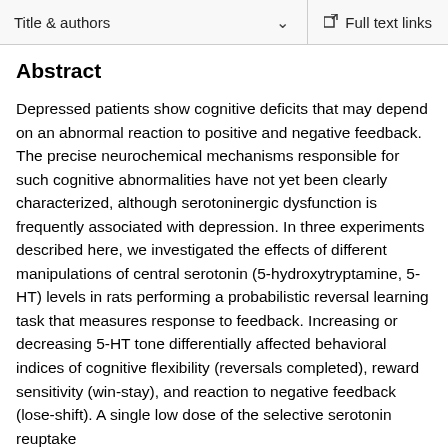Title & authors   Full text links
Abstract
Depressed patients show cognitive deficits that may depend on an abnormal reaction to positive and negative feedback. The precise neurochemical mechanisms responsible for such cognitive abnormalities have not yet been clearly characterized, although serotoninergic dysfunction is frequently associated with depression. In three experiments described here, we investigated the effects of different manipulations of central serotonin (5-hydroxytryptamine, 5-HT) levels in rats performing a probabilistic reversal learning task that measures response to feedback. Increasing or decreasing 5-HT tone differentially affected behavioral indices of cognitive flexibility (reversals completed), reward sensitivity (win-stay), and reaction to negative feedback (lose-shift). A single low dose of the selective serotonin reuptake